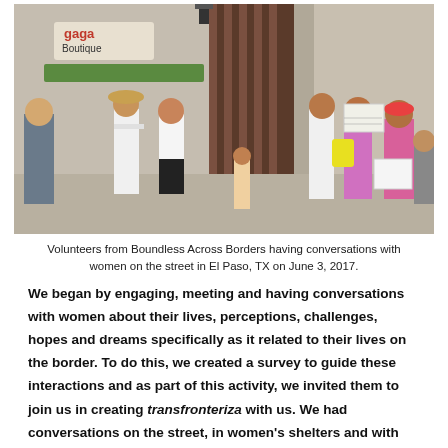[Figure (photo): Volunteers from Boundless Across Borders having conversations with women on the street in El Paso, TX. Several people in white t-shirts holding papers, a woman with a yellow bag, storefronts visible including Gaga Boutique sign.]
Volunteers from Boundless Across Borders having conversations with women on the street in El Paso, TX on June 3, 2017.
We began by engaging, meeting and having conversations with women about their lives, perceptions, challenges, hopes and dreams specifically as it related to their lives on the border. To do this, we created a survey to guide these interactions and as part of this activity, we invited them to join us in creating transfronteriza with us. We had conversations on the street, in women's shelters and with our families and friends. We also distributed the survey online in both English and Spanish to